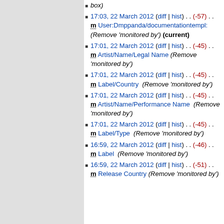box)
17:03, 22 March 2012 (diff | hist) . . (-57) . . m User:Dmppanda/documentationtempl: (Remove 'monitored by') (current)
17:01, 22 March 2012 (diff | hist) . . (-45) . . m Artist/Name/Legal Name (Remove 'monitored by')
17:01, 22 March 2012 (diff | hist) . . (-45) . . m Label/Country  (Remove 'monitored by')
17:01, 22 March 2012 (diff | hist) . . (-45) . . m Artist/Name/Performance Name  (Remove 'monitored by')
17:01, 22 March 2012 (diff | hist) . . (-45) . . m Label/Type  (Remove 'monitored by')
16:59, 22 March 2012 (diff | hist) . . (-46) . . m Label  (Remove 'monitored by')
16:59, 22 March 2012 (diff | hist) . . (-51) . . m Release Country  (Remove 'monitored by')